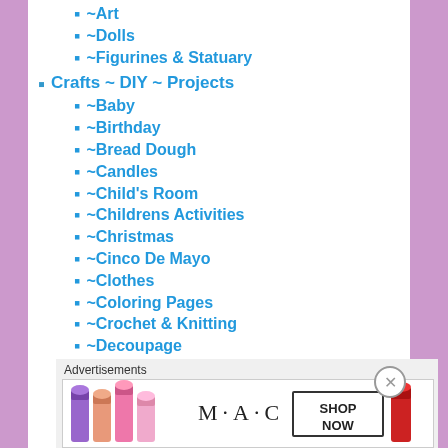~Art
~Dolls
~Figurines & Statuary
Crafts ~ DIY ~ Projects
~Baby
~Birthday
~Bread Dough
~Candles
~Child's Room
~Childrens Activities
~Christmas
~Cinco De Mayo
~Clothes
~Coloring Pages
~Crochet & Knitting
~Decoupage
~Dia de los Muertos – Day of the Dead
Advertisements
[Figure (photo): MAC cosmetics advertisement showing lipsticks with SHOP NOW button]